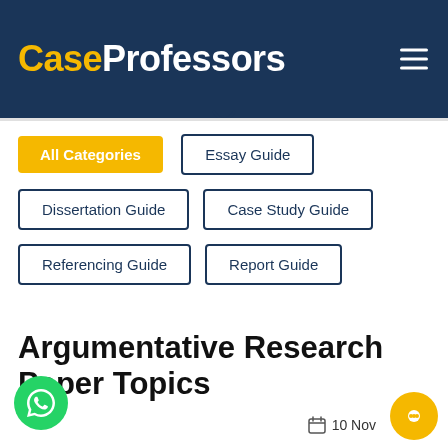CaseProfessors
All Categories
Essay Guide
Dissertation Guide
Case Study Guide
Referencing Guide
Report Guide
Argumentative Research Paper Topics
10 Nov